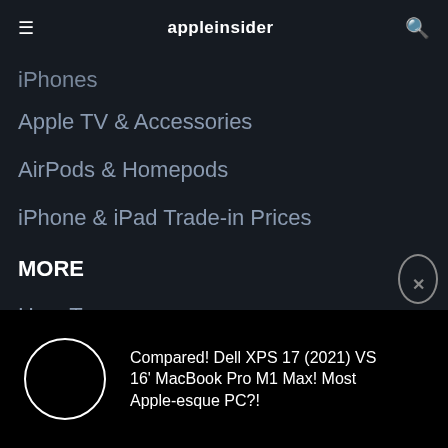appleinsider
iPhones
Apple TV & Accessories
AirPods & Homepods
iPhone & iPad Trade-in Prices
MORE
How-Tos
Forums
Podcasts
[Figure (screenshot): Bottom video bar with circular loading spinner and article title: Compared! Dell XPS 17 (2021) VS 16' MacBook Pro M1 Max! Most Apple-esque PC?!]